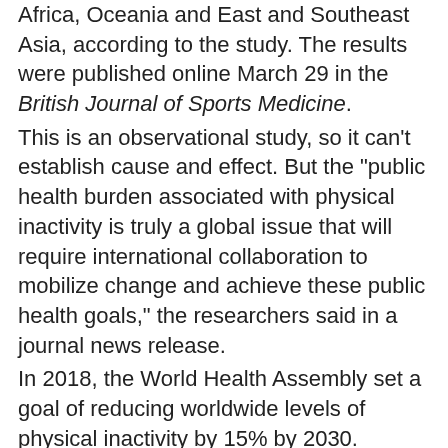Africa, Oceania and East and Southeast Asia, according to the study. The results were published online March 29 in the British Journal of Sports Medicine.
This is an observational study, so it can't establish cause and effect. But the "public health burden associated with physical inactivity is truly a global issue that will require international collaboration to mobilize change and achieve these public health goals," the researchers said in a journal news release.
In 2018, the World Health Assembly set a goal of reducing worldwide levels of physical inactivity by 15% by 2030.
More information
The U.S. National Heart, Lung, and Blood Institute offers a guide to physical activity.
SOURCE: British Journal of Sports Medicine, news